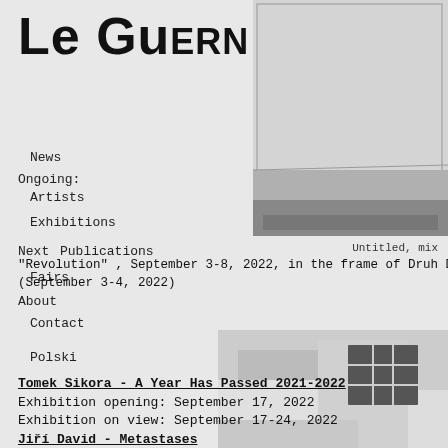Le Guern
News
Ongoing:
Artists
Exhibitions
Next
Publications
Fairs
About
Contact
Polski
[Figure (photo): Black and white landscape photograph, top right]
Untitled, mix
"Revolution" , September 3-8, 2022, in the frame of Druh D (September 3-4, 2022)
[Figure (photo): Black and white photo of building with grid window, bottom right]
Tomek Sikora - A Year Has Passed 2021-2022
Exhibition opening: September 17, 2022
Exhibition on view: September 17-24, 2022
Jiří David - Metastases
in the frame of Warsaw Gallery Weekend: September 29 - October 2, 2022
Exhibition on view: September 29 - November 15, 2022